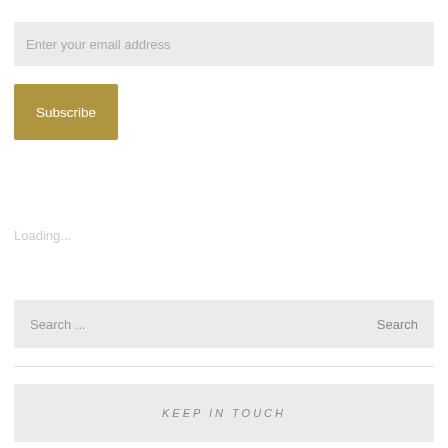Enter your email address
Subscribe
Loading...
Search ...
Search
KEEP IN TOUCH